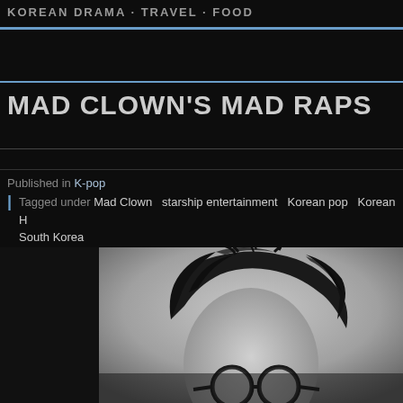KOREAN DRAMA · TRAVEL · FOOD
MAD CLOWN'S MAD RAPS
Published in K-pop
Tagged under: Mad Clown  starship entertainment  Korean pop  Korean H  South Korea
[Figure (photo): Black and white photo of a person with dark tousled hair and round glasses, seen from the chin up]